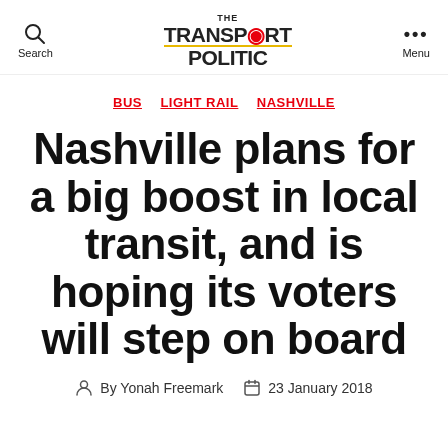Search | THE TRANSPORT POLITIC | Menu
BUS  LIGHT RAIL  NASHVILLE
Nashville plans for a big boost in local transit, and is hoping its voters will step on board
By Yonah Freemark  23 January 2018